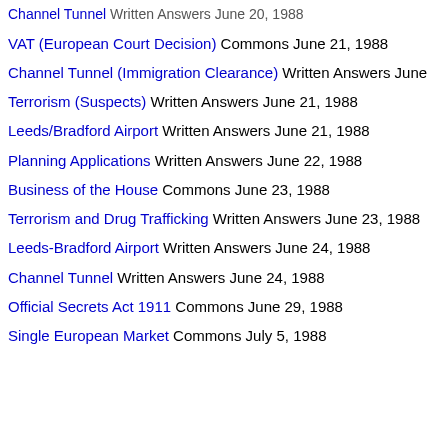Channel Tunnel Written Answers June 20, 1988
VAT (European Court Decision) Commons June 21, 1988
Channel Tunnel (Immigration Clearance) Written Answers June…
Terrorism (Suspects) Written Answers June 21, 1988
Leeds/Bradford Airport Written Answers June 21, 1988
Planning Applications Written Answers June 22, 1988
Business of the House Commons June 23, 1988
Terrorism and Drug Trafficking Written Answers June 23, 1988
Leeds-Bradford Airport Written Answers June 24, 1988
Channel Tunnel Written Answers June 24, 1988
Official Secrets Act 1911 Commons June 29, 1988
Single European Market Commons July 5, 1988